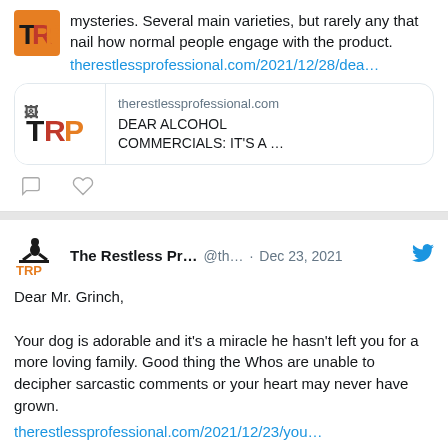mysteries. Several main varieties, but rarely any that nail how normal people engage with the product.
therestlessprofessional.com/2021/12/28/dea…
[Figure (screenshot): Link preview card showing TRP logo and text: therestlessprofessional.com / DEAR ALCOHOL COMMERCIALS: IT'S A ...]
[Figure (other): Reply and like action icons]
The Restless Pr... @th... · Dec 23, 2021
Dear Mr. Grinch,

Your dog is adorable and it's a miracle he hasn't left you for a more loving family. Good thing the Whos are unable to decipher sarcastic comments or your heart may never have grown.
therestlessprofessional.com/2021/12/23/you…
[Figure (screenshot): Partial link preview card showing therestlessprofessional.com]